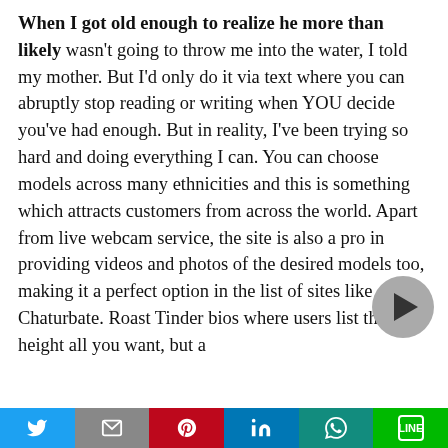When I got old enough to realize he more than likely wasn't going to throw me into the water, I told my mother. But I'd only do it via text where you can abruptly stop reading or writing when YOU decide you've had enough. But in reality, I've been trying so hard and doing everything I can. You can choose models across many ethnicities and this is something which attracts customers from across the world. Apart from live webcam service, the site is also a pro in providing videos and photos of the desired models too, making it a perfect option in the list of sites like Chaturbate. Roast Tinder bios where users list their height all you want, but a